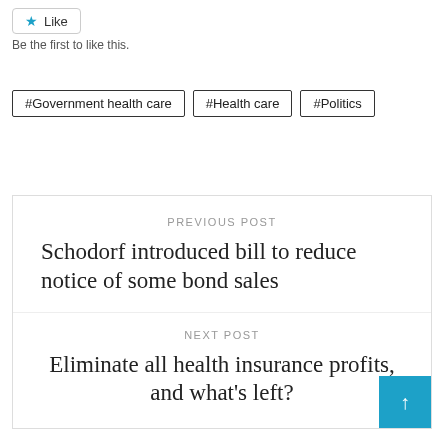[Figure (other): Like button with star icon]
Be the first to like this.
#Government health care
#Health care
#Politics
PREVIOUS POST
Schodorf introduced bill to reduce notice of some bond sales
NEXT POST
Eliminate all health insurance profits, and what's left?